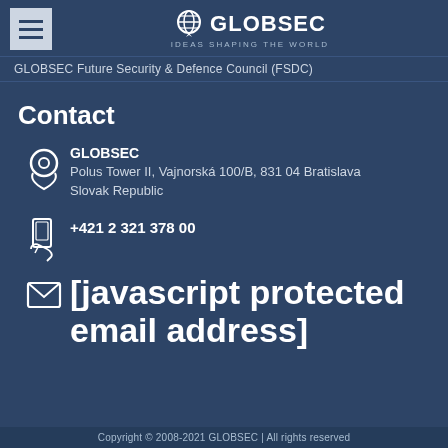GLOBSEC IDEAS SHAPING THE WORLD
GLOBSEC Future Security & Defence Council (FSDC)
Contact
GLOBSEC
Polus Tower II, Vajnorská 100/B, 831 04 Bratislava
Slovak Republic
+421 2 321 378 00
[javascript protected email address]
Copyright © 2008-2021 GLOBSEC | All rights reserved